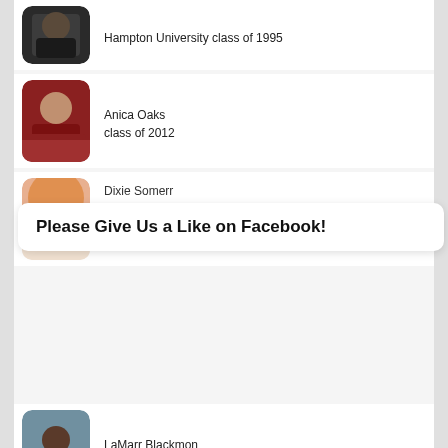Hampton University class of 1995
Anica Oaks
class of 2012
Dixie Somerr
Please Give Us a Like on Facebook!
LaMarr Blackmon
Cal St Univ, Long Beach class of 1992
Heather Schutmaat
class of